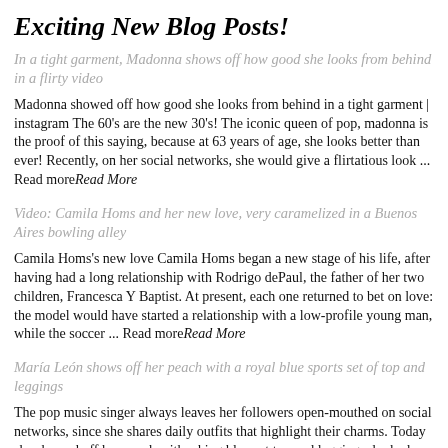Exciting New Blog Posts!
In a tight garment, Madonna shows off how good she looks from behind in a flirty video
Madonna showed off how good she looks from behind in a tight garment | instagram The 60's are the new 30's! The iconic queen of pop, madonna is the proof of this saying, because at 63 years of age, she looks better than ever! Recently, on her social networks, she would give a flirtatious look ... Read moreRead More
Video: Camila Homs and her new love, very caramelized in a Buenos Aires bowling alley
Camila Homs's new love Camila Homs began a new stage of his life, after having had a long relationship with Rodrigo dePaul, the father of her two children, Francesca Y Baptist. At present, each one returned to bet on love: the model would have started a relationship with a low-profile young man, while the soccer ... Read moreRead More
María León shows off her peach with a royal blue sports set of top and leggings
The pop music singer always leaves her followers open-mouthed on social networks, since she shares daily outfits that highlight their charms. Today she showed off her peach with a king blue set top and leggings, looked divine. It may interest you: Galilea Montijo proves that animal print garments are the best to wear in summer ... Read moreRead More
Denise Richards apoyó a su hija que se sumó a OnlyFans